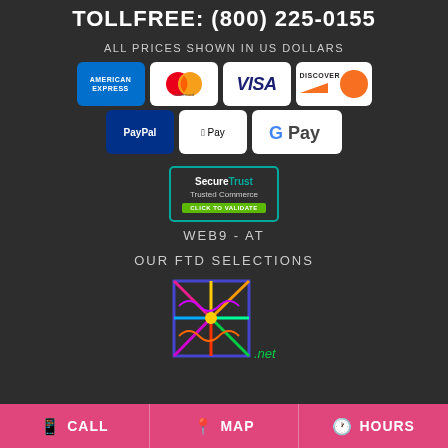TOLLFREE: (800) 225-0155
ALL PRICES SHOWN IN US DOLLARS
[Figure (infographic): Payment method icons: American Express, Mastercard, Visa, Discover, PayPal, Apple Pay, Google Pay]
[Figure (logo): SecureTrust Trusted Commerce - Click to Validate badge]
WEB9-AT
OUR FTD SELECTIONS
[Figure (logo): FTD.net colorful logo with multicolored flower/starburst design]
CALL  MAP  HOURS